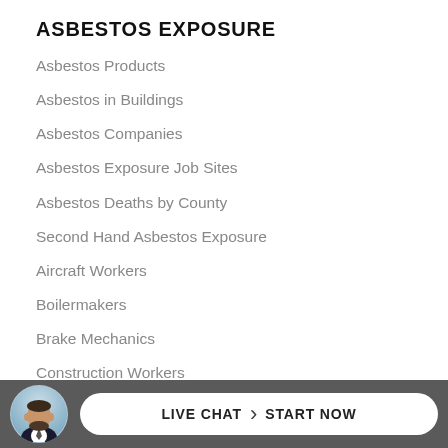ASBESTOS EXPOSURE
Asbestos Products
Asbestos in Buildings
Asbestos Companies
Asbestos Exposure Job Sites
Asbestos Deaths by County
Second Hand Asbestos Exposure
Aircraft Workers
Boilermakers
Brake Mechanics
Construction Workers
Electricians
Insu...
LIVE CHAT  START NOW